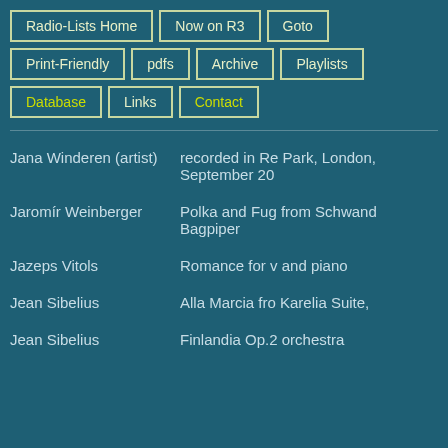Radio-Lists Home
Now on R3
Goto
Print-Friendly
pdfs
Archive
Playlists
Database
Links
Contact
Jana Winderen (artist)
recorded in Re Park, London, September 20
Jaromír Weinberger
Polka and Fug from Schwand Bagpiper
Jazeps Vitols
Romance for v and piano
Jean Sibelius
Alla Marcia fro Karelia Suite,
Jean Sibelius
Finlandia Op.2 orchestra